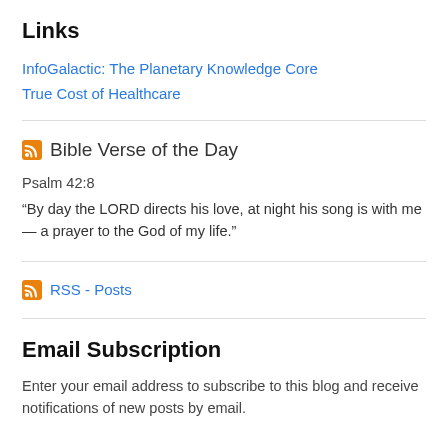Links
InfoGalactic: The Planetary Knowledge Core
True Cost of Healthcare
Bible Verse of the Day
Psalm 42:8
“By day the LORD directs his love, at night his song is with me— a prayer to the God of my life.”
RSS - Posts
Email Subscription
Enter your email address to subscribe to this blog and receive notifications of new posts by email.